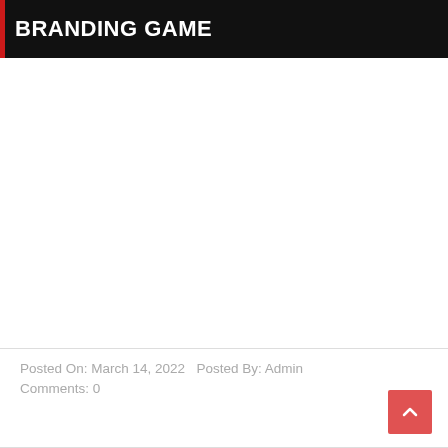BRANDING GAME
Posted On: March 14, 2022   Posted By: Admin   Comments: 0